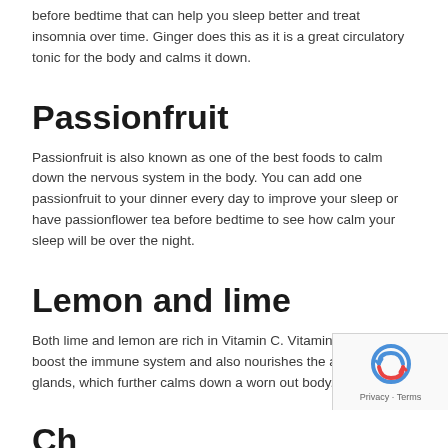before bedtime that can help you sleep better and treat insomnia over time. Ginger does this as it is a great circulatory tonic for the body and calms it down.
Passionfruit
Passionfruit is also known as one of the best foods to calm down the nervous system in the body. You can add one passionfruit to your dinner every day to improve your sleep or have passionflower tea before bedtime to see how calm your sleep will be over the night.
Lemon and lime
Both lime and lemon are rich in Vitamin C. Vitamin C helps to boost the immune system and also nourishes the adrenal glands, which further calms down a worn out body.
Ch...